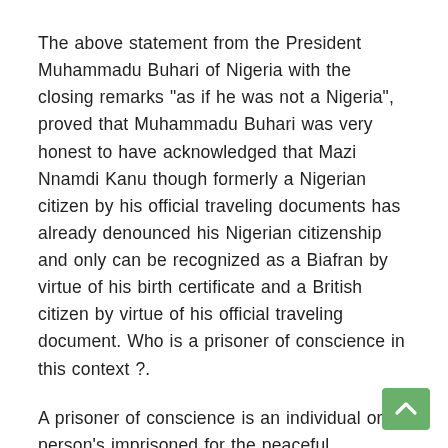The above statement from the President Muhammadu Buhari of Nigeria with the closing remarks "as if he was not a Nigeria", proved that Muhammadu Buhari was very honest to have acknowledged that Mazi Nnamdi Kanu though formerly a Nigerian citizen by his official traveling documents has already denounced his Nigerian citizenship and only can be recognized as a Biafran by virtue of his birth certificate and a British citizen by virtue of his official traveling document. Who is a prisoner of conscience in this context ?.
A prisoner of conscience is an individual or person's imprisoned for the peaceful expression of his/her political, religious, or other conscientiously held beliefs, or for his/her identity, even though he or she have neither used nor advocated for the use of violence against the state. With the above definition of a